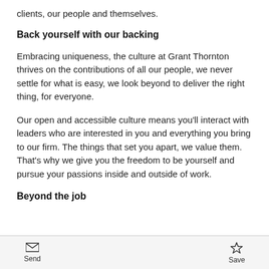clients, our people and themselves.
Back yourself with our backing
Embracing uniqueness, the culture at Grant Thornton thrives on the contributions of all our people, we never settle for what is easy, we look beyond to deliver the right thing, for everyone.
Our open and accessible culture means you'll interact with leaders who are interested in you and everything you bring to our firm. The things that set you apart, we value them. That's why we give you the freedom to be yourself and pursue your passions inside and outside of work.
Beyond the job
Send  Save